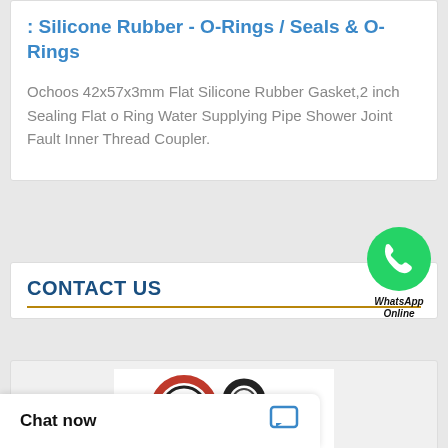: Silicone Rubber - O-Rings / Seals & O-Rings
Ochoos 42x57x3mm Flat Silicone Rubber Gasket,2 inch Sealing Flat o Ring Water Supplying Pipe Shower Joint Fault Inner Thread Coupler.
[Figure (logo): WhatsApp green phone icon bubble with text 'WhatsApp Online']
CONTACT US
[Figure (photo): Product image showing multiple O-rings and seals of various sizes, black and red colored rings on white background]
Chat now